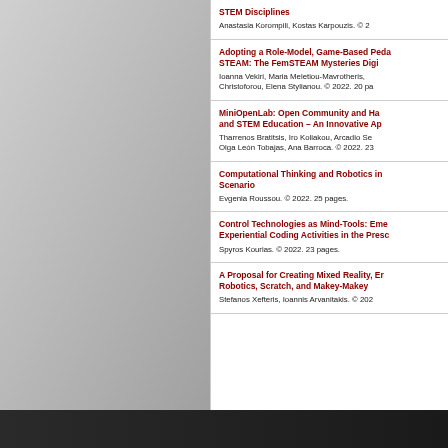STEM Disciplines
Anastasia Korompili, Kostas Karpouzis. © 2...
Adopting a Role-Model, Game-Based Peda... STEAM: The FemSTEAM Mysteries Digi...
Ioanna Vekiri, Maria Meletiou-Mavrotheris, ... Christoforou, Elena Stylianou. © 2022. 20 pa...
MiniOpenLab: Open Community and Ha... and STEM Education – An Innovative Ap...
Tharrenos Bratitsis, Iro Koliakou, Arcadio Se... Olga León Tobajas, Ana Barroca. © 2022. 23...
Computational Thinking and Robotics in ... Scenario
Evgenia Roussou. © 2022. 25 pages.
Control Technologies as Mind-Tools: Eme... Experiential Coding Activities in the Presc...
Spyros Kourias. © 2022. 23 pages.
A Proposal for Creating Mixed Reality, Er... Robotics, Scratch, and Makey-Makey
Stefanos Xefteris, Ioannis Arvanitakis. © 202...